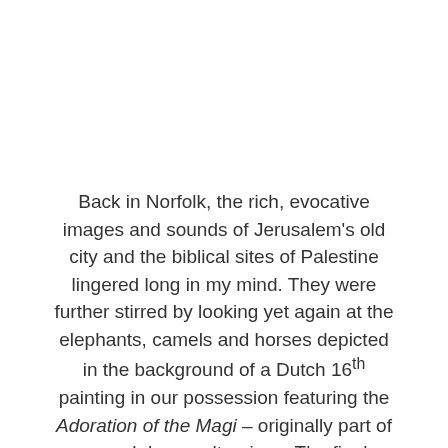Back in Norfolk, the rich, evocative images and sounds of Jerusalem's old city and the biblical sites of Palestine lingered long in my mind. They were further stirred by looking yet again at the elephants, camels and horses depicted in the background of a Dutch 16th painting in our possession featuring the Adoration of the Magi – originally part of a much larger altarpiece. The final element was to hear the melliferous sound of a lute in The ...